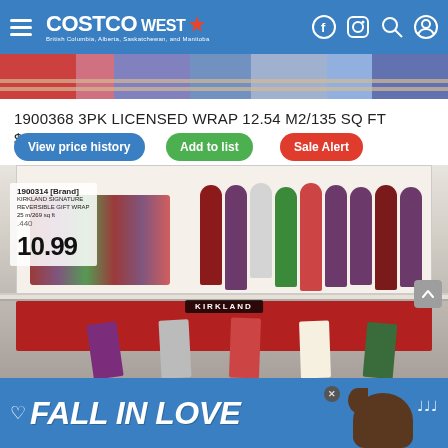COSTCO WEST — British Columbia, Alberta, Saskatchewan, and Manitoba
[Figure (photo): Top strip showing colorful Christmas gift wrapping paper rolls]
1900368 3PK LICENSED WRAP 12.54 M2/135 SQ FT $11.99
View price history
Add to list
Sale Alert
[Figure (photo): Costco store display of Kirkland Signature Reversible Gift Wrap rolls, price tag showing 1900314 Kirkland Signature Reversible Gift Wrap 25m/269 sq ft priced at 10.99, with colorful Christmas wrap rolls on shelf and samples hanging below]
FALL IN LOVE — advertisement banner at bottom